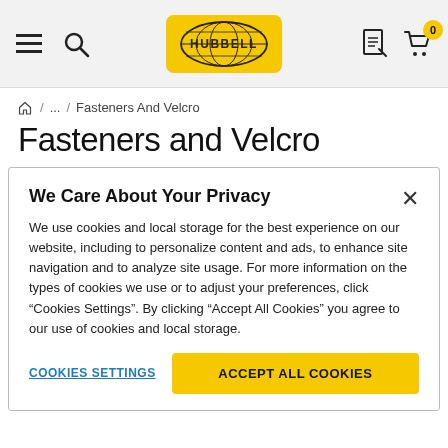Hubbell website header with hamburger menu, search, Hubbell logo, document icon, and cart (0 items)
/ ... / Fasteners And Velcro
Fasteners and Velcro
We Care About Your Privacy
We use cookies and local storage for the best experience on our website, including to personalize content and ads, to enhance site navigation and to analyze site usage. For more information on the types of cookies we use or to adjust your preferences, click “Cookies Settings”. By clicking “Accept All Cookies” you agree to our use of cookies and local storage.
COOKIES SETTINGS
ACCEPT ALL COOKIES